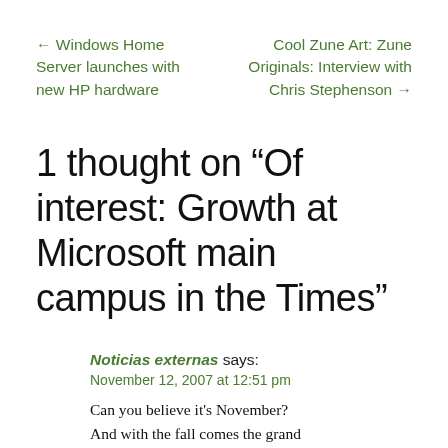← Windows Home Server launches with new HP hardware
Cool Zune Art: Zune Originals: Interview with Chris Stephenson →
1 thought on “Of interest: Growth at Microsoft main campus in the Times”
Noticias externas says:
November 12, 2007 at 12:51 pm
Can you believe it&#39;s November? And with the fall comes the grand